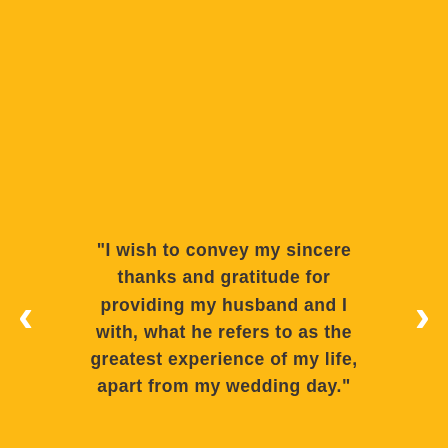"I wish to convey my sincere thanks and gratitude for providing my husband and I with, what he refers to as the greatest experience of my life, apart from my wedding day."